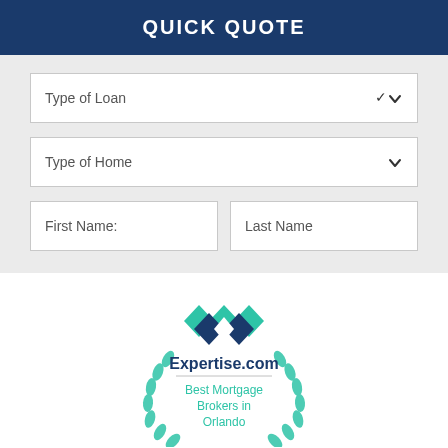QUICK QUOTE
Type of Loan
Type of Home
First Name:
Last Name
[Figure (logo): Expertise.com award badge: Best Mortgage Brokers in Orlando. Teal/dark blue diamond logo with laurel wreath border.]